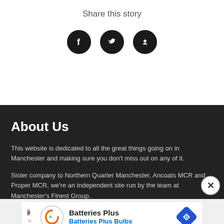Share this story
[Figure (illustration): Three circular dark social sharing icons: Facebook, Twitter, and Upload/Share]
About Us
This website is dedicated to all the great things going on in Manchester and making sure you don't miss out on any of it.
Sister company to Northern Quarter Manchester, Ancoats MCR and Proper MCR, we're an independent site run by the team at Manchester's Finest Group.
We hope you enjoy the read.
[Figure (illustration): Advertisement banner for Batteries Plus / Batteries Plus Bulbs with logo and navigation icon]